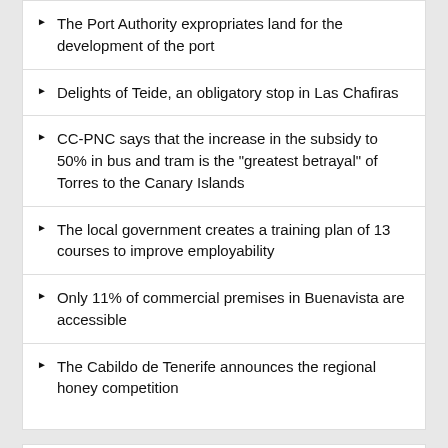The Port Authority expropriates land for the development of the port
Delights of Teide, an obligatory stop in Las Chafiras
CC-PNC says that the increase in the subsidy to 50% in bus and tram is the "greatest betrayal" of Torres to the Canary Islands
The local government creates a training plan of 13 courses to improve employability
Only 11% of commercial premises in Buenavista are accessible
The Cabildo de Tenerife announces the regional honey competition
Trending News
[Figure (photo): Image placeholder at bottom of page]